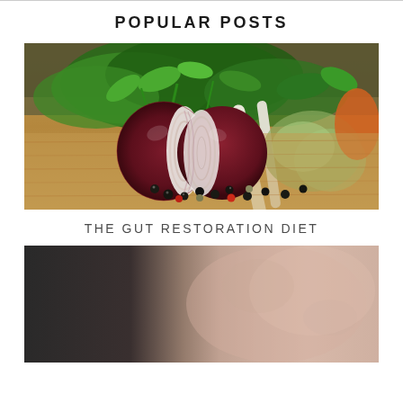POPULAR POSTS
[Figure (photo): A halved red onion on a wooden cutting board surrounded by fresh herbs (parsley, green vegetables), white daikon radish, peppercorns, and a carrot in the background]
THE GUT RESTORATION DIET
[Figure (photo): Close-up of a person's face/neck area, partially obscured, showing skin texture against a dark background]